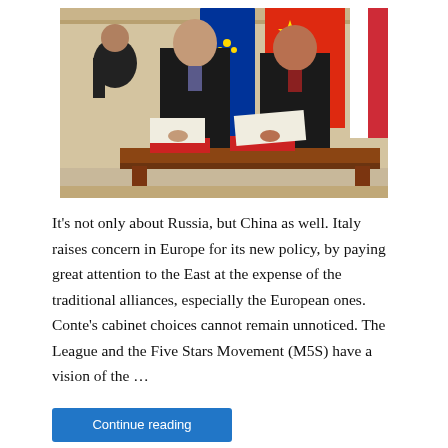[Figure (photo): Two officials in dark suits signing documents at a formal wooden desk, with Chinese and Italian flags visible in the background, and a third person leaning in from the left. Likely a diplomatic signing ceremony between China and Italy.]
It’s not only about Russia, but China as well. Italy raises concern in Europe for its new policy, by paying great attention to the East at the expense of the traditional alliances, especially the European ones. Conte’s cabinet choices cannot remain unnoticed. The League and the Five Stars Movement (M5S) have a vision of the …
Continue reading